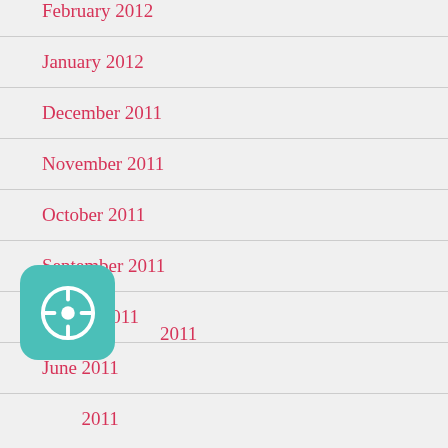February 2012
January 2012
December 2011
November 2011
October 2011
September 2011
August 2011
June 2011
May 2011
April 2011